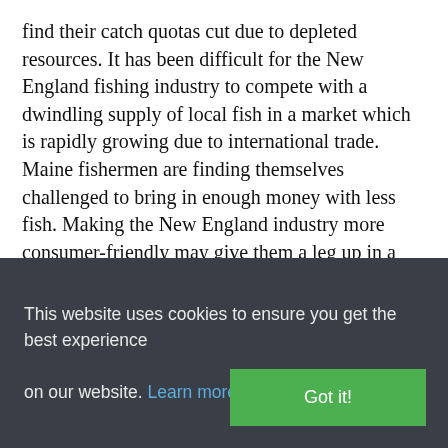find their catch quotas cut due to depleted resources. It has been difficult for the New England fishing industry to compete with a dwindling supply of local fish in a market which is rapidly growing due to international trade. Maine fishermen are finding themselves challenged to bring in enough money with less fish. Making the New England industry more consumer-friendly may give them a leg up in a high-information age.
The app works by scanning QR codes right in the supermarket rather than relying on index card information. It is not expected to be released until 2017, but regional chain supermarkets are already on board and will be providing customers with more information about their choices...
This website uses cookies to ensure you get the best experience on our website. Learn more